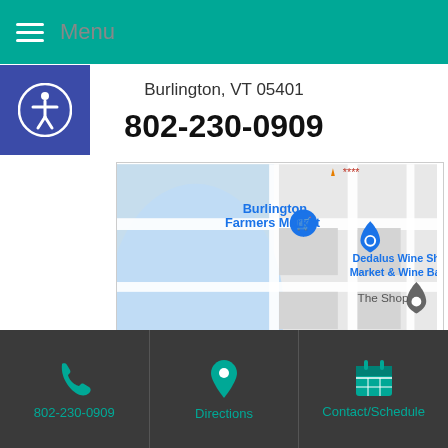Menu
Burlington, VT 05401
802-230-0909
[Figure (map): Google Maps view showing Burlington Farmers Market, Dedalus Wine Shop Market & Wine Bar, The Shop, Catherine St, FIVE SISTERS, and Surf Club areas in Burlington, VT]
802-230-0909 | Directions | Contact/Schedule